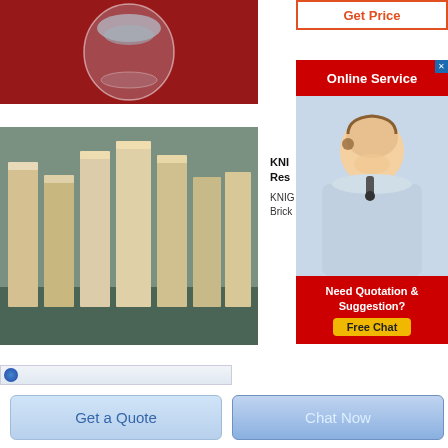[Figure (photo): Product photo: glass bowl containing white/grey powder on red background]
[Figure (other): Button: Get Price with orange/red text and border]
[Figure (photo): Online Service banner in red with white text, close X button]
[Figure (photo): Photo of blonde female customer service agent wearing headset, smiling]
[Figure (photo): Rows of beige/tan rectangular refractory bricks stacked on warehouse floor]
KNI Res
KNIG Brick
[Figure (infographic): Need Quotation & Suggestion? Free Chat button in yellow on red background]
[Figure (screenshot): Browser bar with globe icon]
[Figure (other): Get a Quote button (light blue)]
[Figure (other): Chat Now button (blue)]